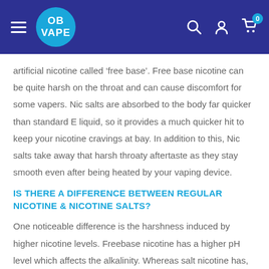OB VAPE
artificial nicotine called ‘free base’. Free base nicotine can be quite harsh on the throat and can cause discomfort for some vapers. Nic salts are absorbed to the body far quicker than standard E liquid, so it provides a much quicker hit to keep your nicotine cravings at bay. In addition to this, Nic salts take away that harsh throaty aftertaste as they stay smooth even after being heated by your vaping device.
IS THERE A DIFFERENCE BETWEEN REGULAR NICOTINE & NICOTINE SALTS?
One noticeable difference is the harshness induced by higher nicotine levels. Freebase nicotine has a higher pH level which affects the alkalinity. Whereas salt nicotine has, lower alkalinity